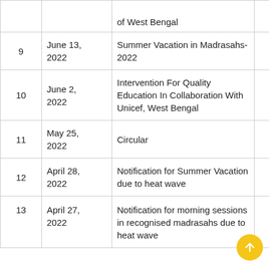| # | Date | Title |  |
| --- | --- | --- | --- |
|  |  | of West Bengal |  |
| 9 | June 13, 2022 | Summer Vacation in Madrasahs-2022 | view |
| 10 | June 2, 2022 | Intervention For Quality Education In Collaboration With Unicef, West Bengal | view |
| 11 | May 25, 2022 | Circular | view |
| 12 | April 28, 2022 | Notification for Summer Vacation due to heat wave | view |
| 13 | April 27, 2022 | Notification for morning sessions in recognised madrasahs due to heat wave | view |